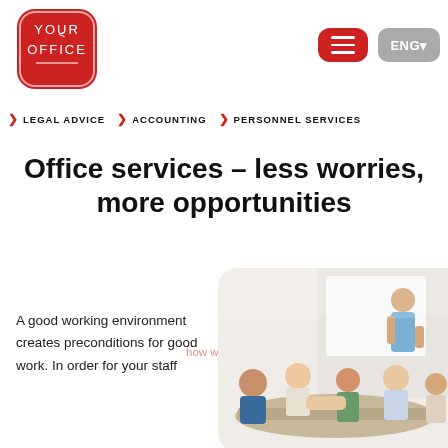[Figure (logo): Your Office logo — red rounded square with white text 'YOUR OFFICE' and a '<' symbol, underline decoration]
Navigation header with hamburger menu button and ENG language selector
> LEGAL ADVICE   > ACCOUNTING   > PERSONNEL SERVICES
Office services – less worries, more opportunities
A good working environment creates preconditions for good work. In order for your staff
[Figure (photo): Business meeting photo: people sitting around a table, one person standing at a whiteboard presenting, rounded corners on right side]
how we use cookies and le— about data protection